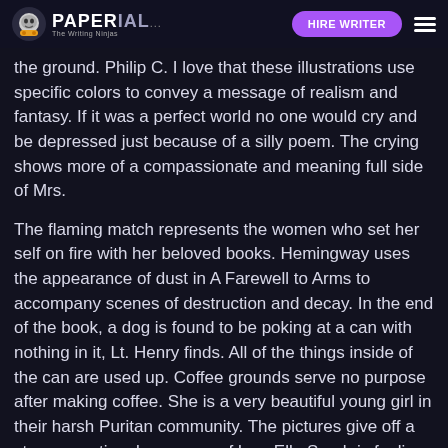PAPERIAL... HIRE WRITER
the ground. Philip C. I love that these illustrations use specific colors to convey a message of realism and fantasy. If it was a perfect world no one would cry and be depressed just because of a silly poem. The crying shows more of a compassionate and meaning full side of Mrs.
The flaming match represents the women who set her self on fire with her beloved books. Hemingway uses the appearance of dust in A Farewell to Arms to accompany scenes of destruction and decay. In the end of the book, a dog is found to be poking at a can with nothing in it, Lt. Henry finds. All of the things inside of the can are used up. Coffee grounds serve no purpose after making coffee. She is a very beautiful young girl in their harsh Puritan community. The pictures give off a strong emotional response of how Ella Sarah is feeling towards not getting her way.